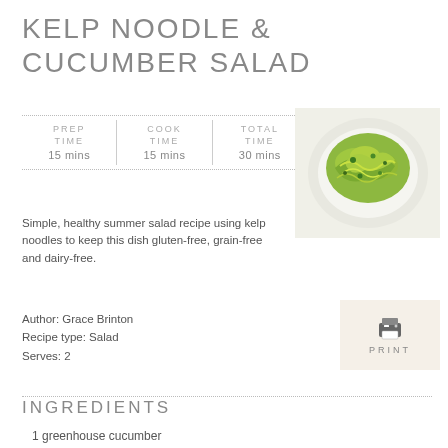KELP NOODLE & CUCUMBER SALAD
| PREP TIME | COOK TIME | TOTAL TIME |
| --- | --- | --- |
| 15 mins | 15 mins | 30 mins |
[Figure (photo): Photo of kelp noodle and cucumber salad served on a white plate, showing green noodles and chopped herbs]
Simple, healthy summer salad recipe using kelp noodles to keep this dish gluten-free, grain-free and dairy-free.
Author: Grace Brinton
Recipe type: Salad
Serves: 2
[Figure (other): Printer icon with PRINT label below]
INGREDIENTS
1 greenhouse cucumber
Juice and zest of 1 lemon
Juice and zest of 1 lime
2 Tbl extra virgin olive oil*
1 tsp coconut aminos*
½ tsp salt
1 avocado, just ripe but not too soft
1 Tbl fresh parsley or cilantro, chopped